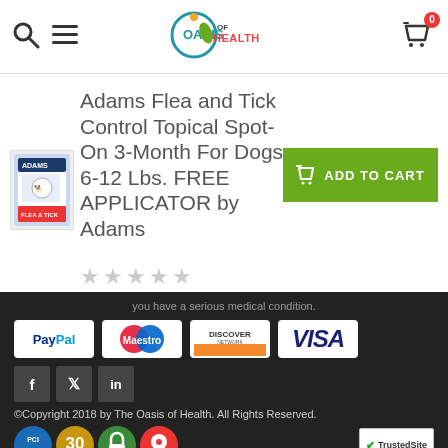Oasis of Health — navigation header with search, menu, logo, and cart (0 items)
Adams Flea and Tick Control Topical Spot-On 3-Month For Dogs 6-12 Lbs. FREE APPLICATOR by Adams
★★★★★ (0 stars)
you have a serious medical condition.
[Figure (logo): Payment method logos: PayPal, Maestro, Discover Network, Visa]
[Figure (logo): Social media icons: Facebook, Twitter, LinkedIn]
©Copyright 2018 by The Oasis of Health. All Rights Reserved.
[Figure (logo): Trust badges: PCI, 30-day, lock, map pin, and TrustedSite]